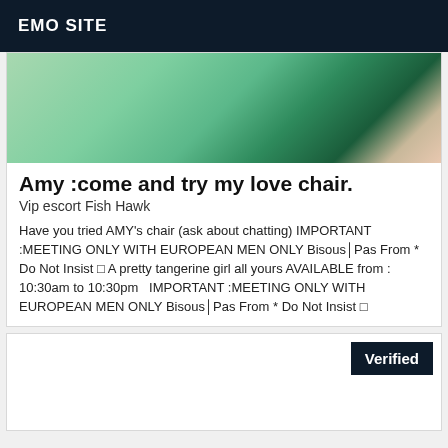EMO SITE
[Figure (photo): Close-up photo showing a green fabric surface with a dark background and a skin-toned edge on the right.]
Amy :come and try my love chair.
Vip escort Fish Hawk
Have you tried AMY's chair (ask about chatting) IMPORTANT :MEETING ONLY WITH EUROPEAN MEN ONLY Bisous│Pas From * Do Not Insist □ A pretty tangerine girl all yours AVAILABLE from : 10:30am to 10:30pm  IMPORTANT :MEETING ONLY WITH EUROPEAN MEN ONLY Bisous│Pas From * Do Not Insist □
Verified